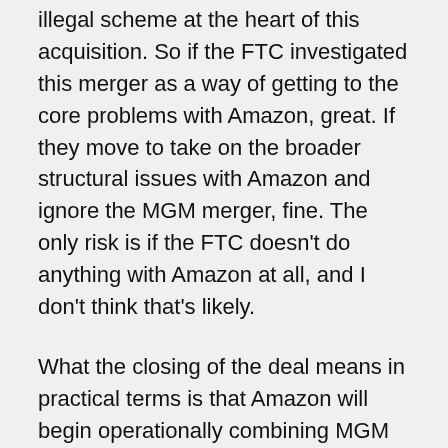illegal scheme at the heart of this acquisition. So if the FTC investigated this merger as a way of getting to the core problems with Amazon, great. If they move to take on the broader structural issues with Amazon and ignore the MGM merger, fine. The only risk is if the FTC doesn't do anything with Amazon at all, and I don't think that's likely.
What the closing of the deal means in practical terms is that Amazon will begin operationally combining MGM with Amazon Studios. But legally, very little has changed. The government could still block the combination, though it will have to undo a consummated deal rather than be able to keep the two firms at arms length while a trial moves forward.
If you want to go much more in-depth on this merger, the Entertainment Strategy Guy at the Ankler has a